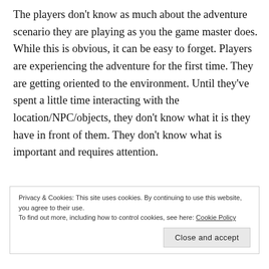The players don't know as much about the adventure scenario they are playing as you the game master does. While this is obvious, it can be easy to forget. Players are experiencing the adventure for the first time. They are getting oriented to the environment. Until they've spent a little time interacting with the location/NPC/objects, they don't know what it is they have in front of them. They don't know what is important and requires attention.
Privacy & Cookies: This site uses cookies. By continuing to use this website, you agree to their use. To find out more, including how to control cookies, see here: Cookie Policy
Close and accept